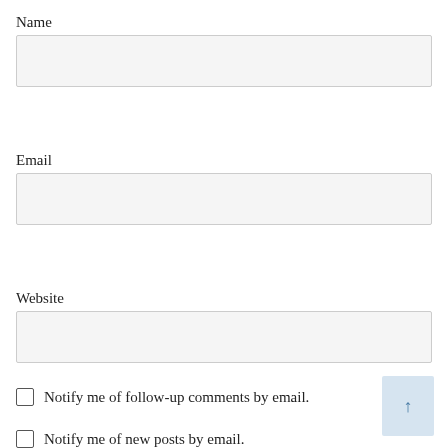Name
[Figure (other): Empty text input field for Name]
Email
[Figure (other): Empty text input field for Email]
Website
[Figure (other): Empty text input field for Website]
Notify me of follow-up comments by email.
Notify me of new posts by email.